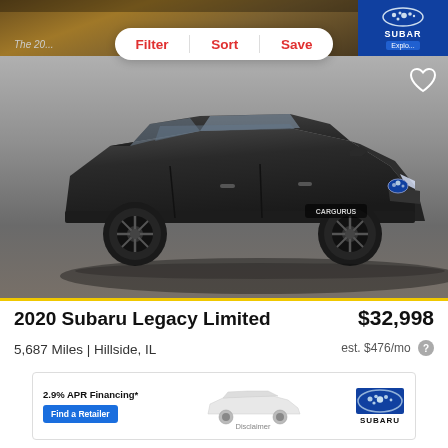[Figure (screenshot): Car interior dashboard view partially visible at top, with Subaru advertisement in top right corner]
Filter | Sort | Save
[Figure (photo): 2020 Subaru Legacy Limited dark gray sedan photographed in studio against gray background]
2020 Subaru Legacy Limited
$32,998
5,687 Miles | Hillside, IL
est. $476/mo
[Figure (infographic): Subaru advertisement banner: 2.9% APR Financing*, Find a Retailer button, white Subaru sedan image, Disclaimer text, Subaru logo]